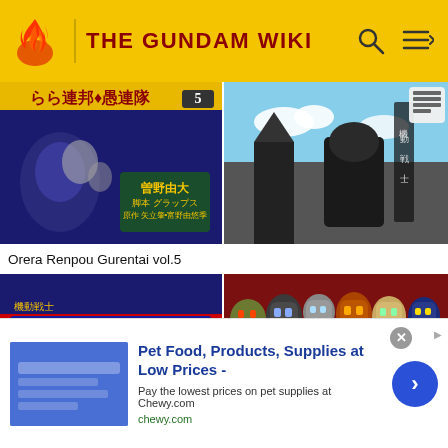THE GUNDAM WIKI
[Figure (illustration): Manga cover: Orera Renpou Gurentai vol.5, dark blue and gold tones with mecha imagery and Japanese text]
[Figure (illustration): Gundam anime scene with mecha in ruins against blue sky, black and white dramatic composition]
Orera Renpou Gurentai vol.5
[Figure (illustration): Manga cover: red background with Japanese text 機動戦士Gundam 聯邦+愚連隊 vol.3]
[Figure (illustration): Collection of Gundam mecha helmet/head designs on dark red background]
Pet Food, Products, Supplies at Low Prices -
Pay the lowest prices on pet supplies at Chewy.com
chewy.com